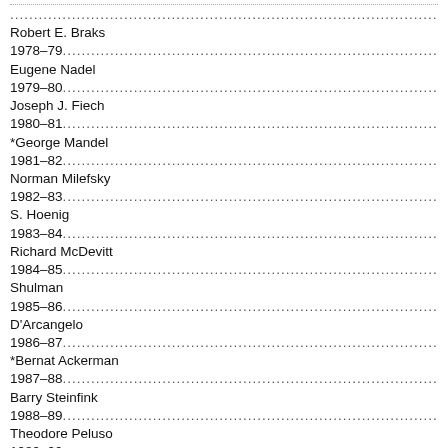Robert E. Braks
1978–79 .............................................................
Eugene Nadel
1979–80 ...............................................................
Joseph J. Fiech
1980–81 ...............................................................
*George Mandel
1981–82 ...............................................................
Norman Milefsky
1982–83 ........................................................... George S. Hoenig
1983–84 ...............................................................
Richard McDevitt
1984–85 ............................................................. Fred Shulman
1985–86 ............................................................. James R. D'Arcangelo
1986–87 ...............................................................
*Bernat Ackerman
1987–88 ...............................................................
Barry Steinfink
1988–89 ...............................................................
Theodore Peluso
1989–90 ............................................................. *Carrie S. Finlayson
1990–91